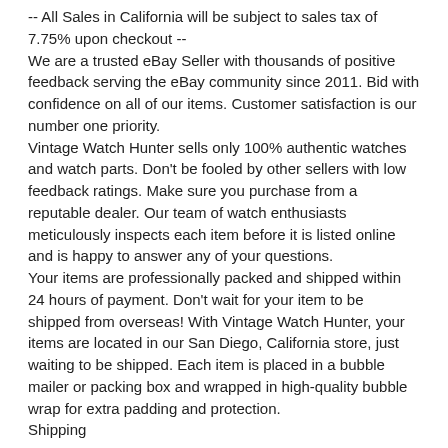-- All Sales in California will be subject to sales tax of 7.75% upon checkout --
We are a trusted eBay Seller with thousands of positive feedback serving the eBay community since 2011. Bid with confidence on all of our items. Customer satisfaction is our number one priority.
Vintage Watch Hunter sells only 100% authentic watches and watch parts. Don't be fooled by other sellers with low feedback ratings. Make sure you purchase from a reputable dealer. Our team of watch enthusiasts meticulously inspects each item before it is listed online and is happy to answer any of your questions.
Your items are professionally packed and shipped within 24 hours of payment. Don't wait for your item to be shipped from overseas! With Vintage Watch Hunter, your items are located in our San Diego, California store, just waiting to be shipped. Each item is placed in a bubble mailer or packing box and wrapped in high-quality bubble wrap for extra padding and protection.
Shipping